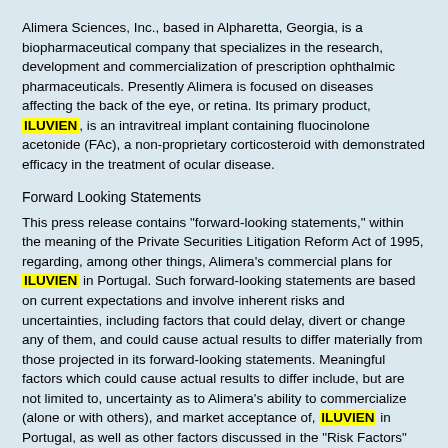Alimera Sciences, Inc., based in Alpharetta, Georgia, is a biopharmaceutical company that specializes in the research, development and commercialization of prescription ophthalmic pharmaceuticals. Presently Alimera is focused on diseases affecting the back of the eye, or retina. Its primary product, ILUVIEN, is an intravitreal implant containing fluocinolone acetonide (FAc), a non-proprietary corticosteroid with demonstrated efficacy in the treatment of ocular disease.
Forward Looking Statements
This press release contains "forward-looking statements," within the meaning of the Private Securities Litigation Reform Act of 1995, regarding, among other things, Alimera's commercial plans for ILUVIEN in Portugal. Such forward-looking statements are based on current expectations and involve inherent risks and uncertainties, including factors that could delay, divert or change any of them, and could cause actual results to differ materially from those projected in its forward-looking statements. Meaningful factors which could cause actual results to differ include, but are not limited to, uncertainty as to Alimera's ability to commercialize (alone or with others), and market acceptance of, ILUVIEN in Portugal, as well as other factors discussed in the "Risk Factors" and "Management's Discussion and Analysis of Financial